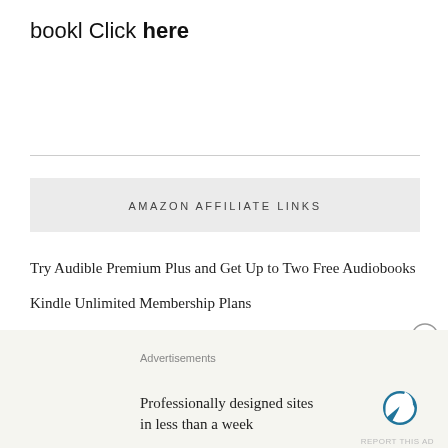bookl Click here
AMAZON AFFILIATE LINKS
Try Audible Premium Plus and Get Up to Two Free Audiobooks
Kindle Unlimited Membership Plans
Try Audible Plus
Try Amazon Prime 30-Day Free Trial
Join Amazon Prime Music – The Only Music Streaming Service with Free 2-day Shipping – 30-day Free Trial
Advertisements
Professionally designed sites in less than a week